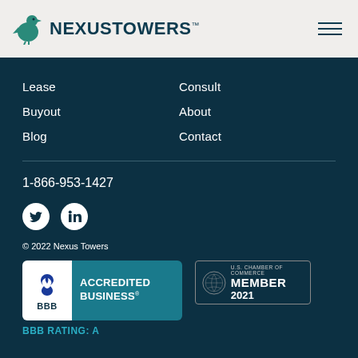[Figure (logo): Nexus Towers logo with teal bird icon and bold dark text reading NEXUS TOWERS with TM mark]
Lease
Buyout
Blog
Consult
About
Contact
1-866-953-1427
[Figure (illustration): Twitter and LinkedIn social media icons (white on dark circular background)]
© 2022 Nexus Towers
[Figure (logo): BBB Accredited Business badge with BBB logo on white and teal background with text ACCREDITED BUSINESS]
[Figure (logo): U.S. Chamber of Commerce Member 2021 badge]
BBB RATING: A